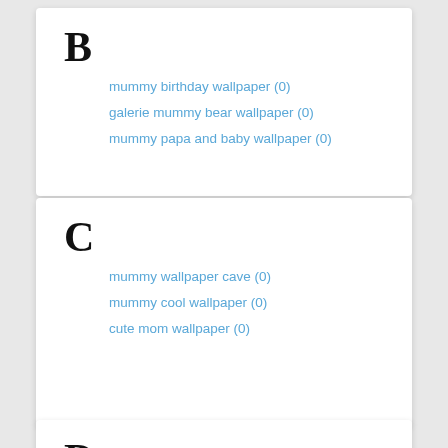B
mummy birthday wallpaper (0)
galerie mummy bear wallpaper (0)
mummy papa and baby wallpaper (0)
C
mummy wallpaper cave (0)
mummy cool wallpaper (0)
cute mom wallpaper (0)
D